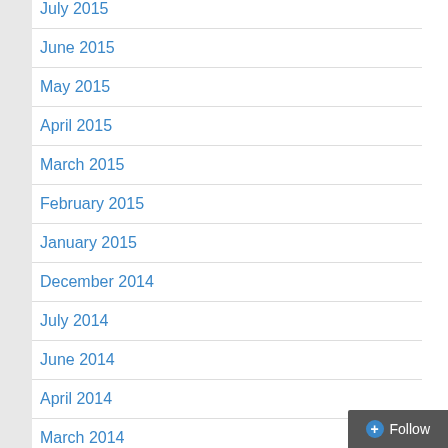July 2015
June 2015
May 2015
April 2015
March 2015
February 2015
January 2015
December 2014
July 2014
June 2014
April 2014
March 2014